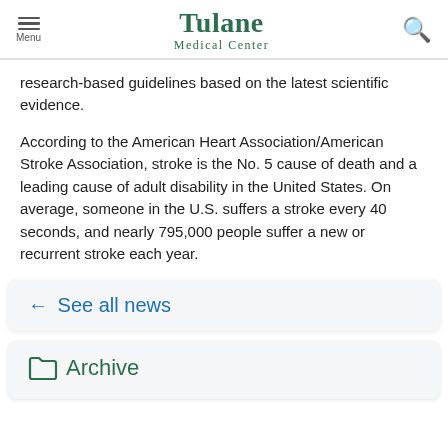Menu | Tulane Medical Center | Search
research-based guidelines based on the latest scientific evidence.
According to the American Heart Association/American Stroke Association, stroke is the No. 5 cause of death and a leading cause of adult disability in the United States. On average, someone in the U.S. suffers a stroke every 40 seconds, and nearly 795,000 people suffer a new or recurrent stroke each year.
← See all news
Archive